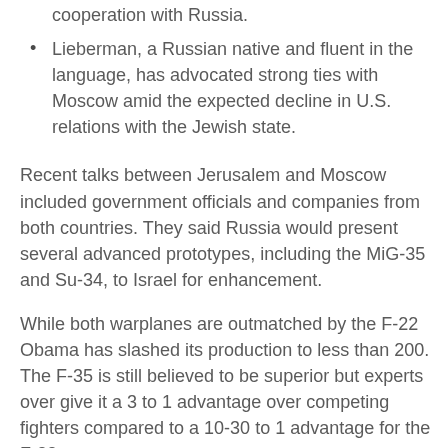cooperation with Russia.
Lieberman, a Russian native and fluent in the language, has advocated strong ties with Moscow amid the expected decline in U.S. relations with the Jewish state.
Recent talks between Jerusalem and Moscow included government officials and companies from both countries. They said Russia would present several advanced prototypes, including the MiG-35 and Su-34, to Israel for enhancement.
While both warplanes are outmatched by the F-22 Obama has slashed its production to less than 200. The F-35 is still believed to be superior but experts over give it a 3 to 1 advantage over competing fighters compared to a 10-30 to 1 advantage for the F-22.
Russia and Israel would work together to develop